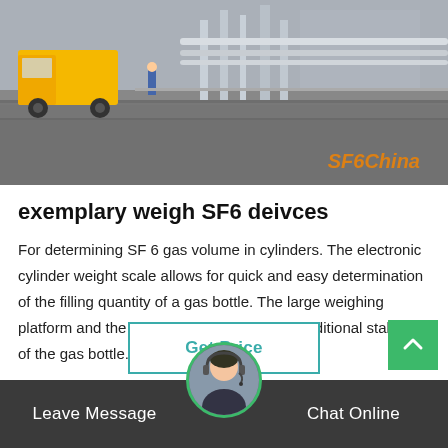[Figure (photo): Outdoor industrial scene with a yellow truck and large gas cylinders/pipes at what appears to be a substation or gas facility. Watermark 'SF6China' in orange italic text at bottom right.]
exemplary weigh SF6 deivces
For determining SF 6 gas volume in cylinders. The electronic cylinder weight scale allows for quick and easy determination of the filling quantity of a gas bottle. The large weighing platform and the supporting chain provide additional stability of the gas bottle. Th…
Get Price
Leave Message
Chat Online